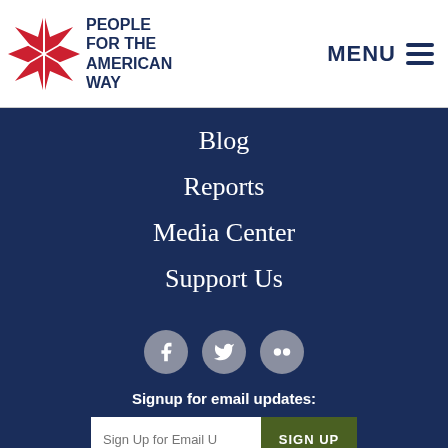[Figure (logo): People For the American Way logo with red star graphic and organization name in dark blue text]
MENU
Blog
Reports
Media Center
Support Us
[Figure (other): Social media icons: Facebook, Twitter, Flickr as grey circles]
Signup for email updates:
Sign Up for Email U
SIGN UP
RIGHT WING WATCH